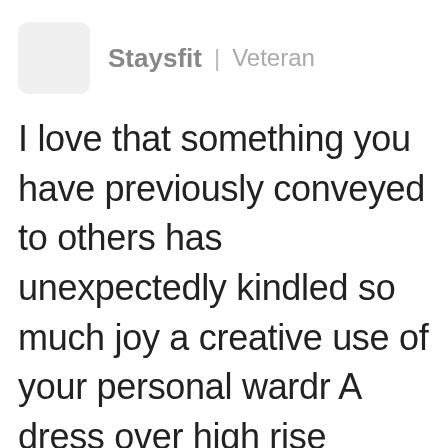Staysfit | Veteran
I love that something you have previously conveyed to others has unexpectedly kindled so much joy a creative use of your personal wardr A dress over high rise skinny jeans! adopted this silhouette from you an it's become my all time favorite! (It p my two favorite items, dresses and